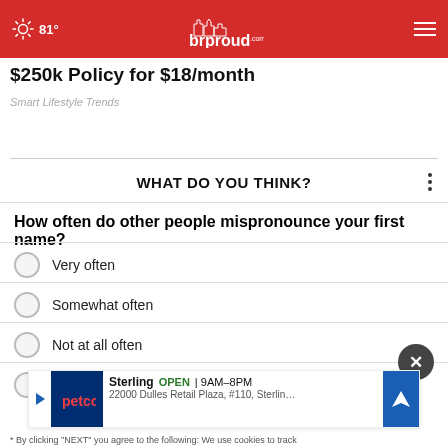81° brproud.com
$250k Policy for $18/month
Smart Lifestyle Trends
WHAT DO YOU THINK?
How often do other people mispronounce your first name?
Very often
Somewhat often
Not at all often
Other / Does not apply
* By clicking "NEXT" you agree to the following: We use cookies to track